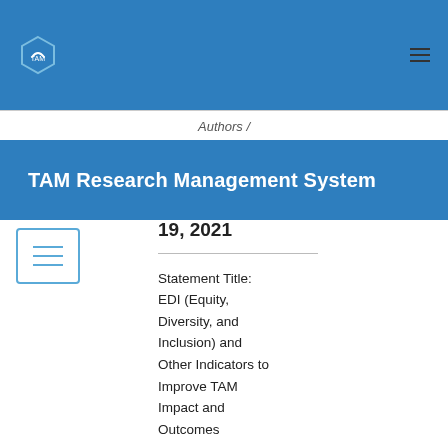TAM Research Management System
Authors /
TAM Research Management System
19, 2021
Statement Title: EDI (Equity, Diversity, and Inclusion) and Other Indicators to Improve TAM Impact and Outcomes
Authors /